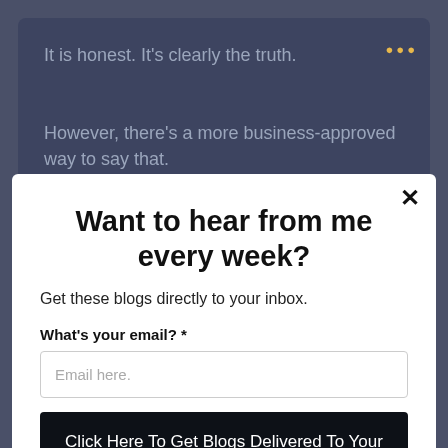It is honest. It's clearly the truth.
However, there's a more business-approved way to say that.
Want to hear from me every week?
Get these blogs directly to your inbox.
What's your email? *
Email here.
Click Here To Get Blogs Delivered To Your Inbox